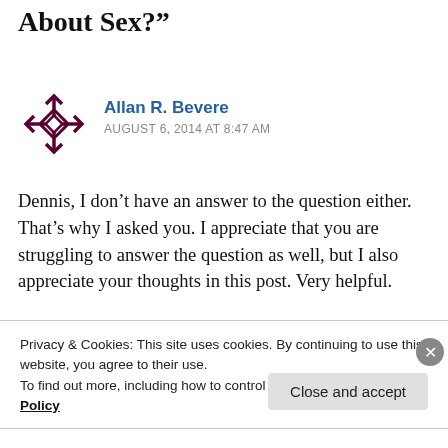About Sex?”
Allan R. Bevere
AUGUST 6, 2014 AT 8:47 AM
Dennis, I don’t have an answer to the question either. That’s why I asked you. I appreciate that you are struggling to answer the question as well, but I also appreciate your thoughts in this post. Very helpful.
REPLY
Privacy & Cookies: This site uses cookies. By continuing to use this website, you agree to their use.
To find out more, including how to control cookies, see here: Cookie Policy
Close and accept